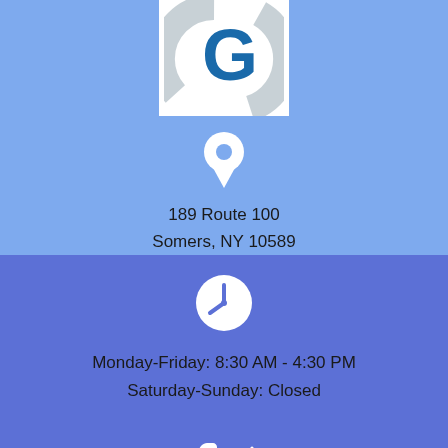[Figure (logo): Organization logo with letter G in dark blue and circular gray design on white background]
[Figure (illustration): White map pin / location icon on light blue background]
189 Route 100
Somers, NY 10589
[Figure (illustration): White clock icon on dark blue/purple background]
Monday-Friday: 8:30 AM - 4:30 PM
Saturday-Sunday: Closed
[Figure (illustration): White phone with sound waves icon at bottom of page]